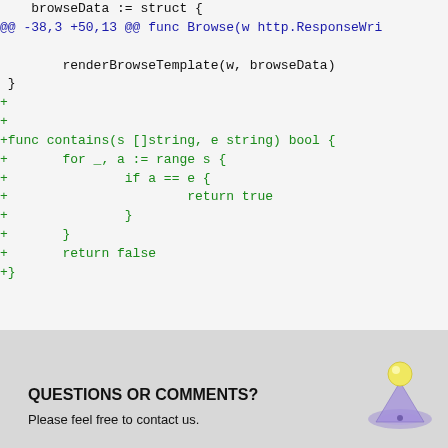browseData := struct {
@@ -38,3 +50,13 @@ func Browse(w http.ResponseWri

        renderBrowseTemplate(w, browseData)
 }
+
+
+func contains(s []string, e string) bool {
+       for _, a := range s {
+               if a == e {
+                       return true
+               }
+       }
+       return false
+}
QUESTIONS OR COMMENTS?
Please feel free to contact us.